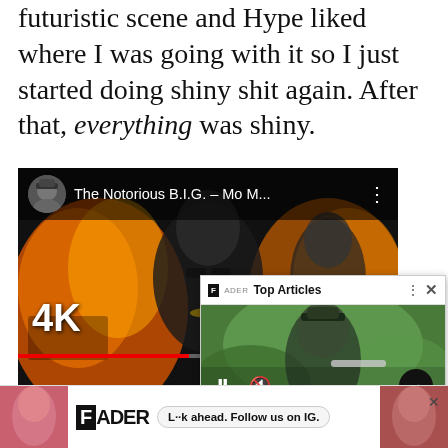futuristic scene and Hype liked where I was going with it so I just started doing shiny shit again. After that, everything was shiny.
[Figure (screenshot): YouTube video player showing The Notorious B.I.G. - Mo M... music video in 4K, with fire background imagery and people in the foreground. A smaller overlay card shows 'Top Articles' from FADER with a photo of a person holding a trumpet, article headline 'Avant-garde trumpeter Jaimie branch dies at 39', and media controls.]
ADVERTISEMENT
[Figure (screenshot): FADER advertisement banner at bottom with logo, photos of women, and text 'L··k ahead. Follow us on IG.' with a close X button.]